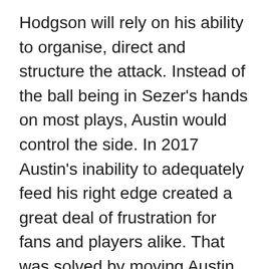Hodgson will rely on his ability to organise, direct and structure the attack. Instead of the ball being in Sezer's hands on most plays, Austin would control the side. In 2017 Austin's inability to adequately feed his right edge created a great deal of frustration for fans and players alike. That was solved by moving Austin to the left side. Having both sides now dependent on a still-learning Austin at hooker seems problematic.
Defensively Austin's physicality in defence is noteworthy, but sporadic in games. His line speed is often poor, and despite his ability to lay a good hit, he often is physically overwhelmed by